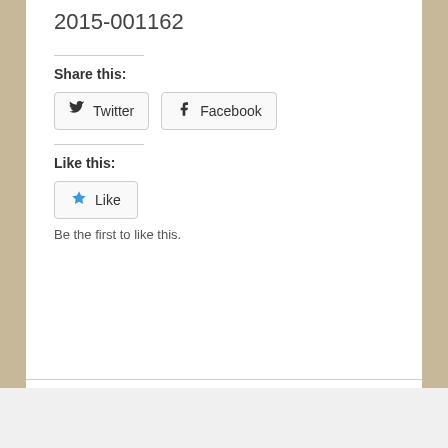2015-001162
Share this:
[Figure (infographic): Twitter and Facebook share buttons with icons]
Like this:
[Figure (infographic): Like button with blue star icon]
Be the first to like this.